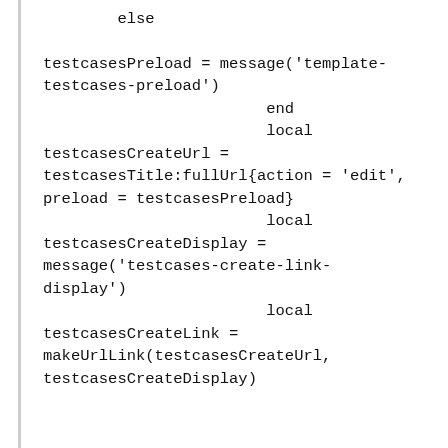else

testcasesPreload = message('template-testcases-preload')
                        end
                        local testcasesCreateUrl =
testcasesTitle:fullUrl{action = 'edit', preload = testcasesPreload}
                        local testcasesCreateDisplay =
message('testcases-create-link-display')
                        local testcasesCreateLink =
makeUrlLink(testcasesCreateUrl, testcasesCreateDisplay)